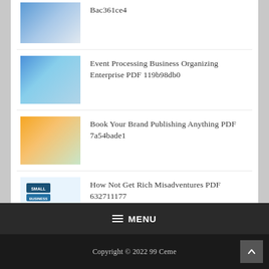Bac361ce4
Event Processing Business Organizing Enterprise PDF 119b98db0
Book Your Brand Publishing Anything PDF 7a54bade1
How Not Get Rich Misadventures PDF 632711177
Thriving Gig Economy Capitalize Compete PDF 65a569c34
MENU
Copyright © 2022 99 Ceme